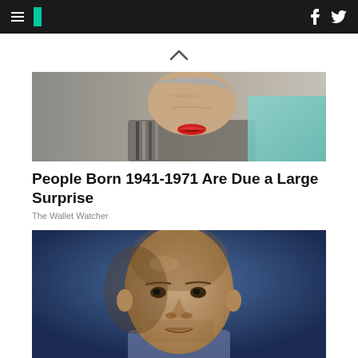HuffPost navigation bar with logo, hamburger menu, Facebook and Twitter icons
[Figure (photo): Upward chevron / caret symbol indicating scroll or collapse]
[Figure (photo): Close-up photo of an elderly woman with red lipstick and teal clothing]
People Born 1941-1971 Are Due a Large Surprise
The Wallet Watcher
[Figure (photo): Close-up portrait photo of a bald middle-aged man against a blue background]